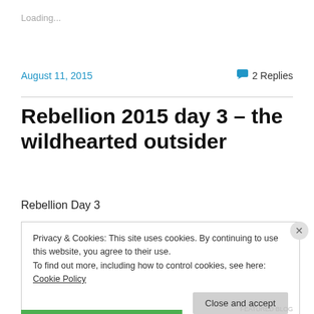Loading...
August 11, 2015
2 Replies
Rebellion 2015 day 3 – the wildhearted outsider
Rebellion Day 3
Privacy & Cookies: This site uses cookies. By continuing to use this website, you agree to their use.
To find out more, including how to control cookies, see here: Cookie Policy